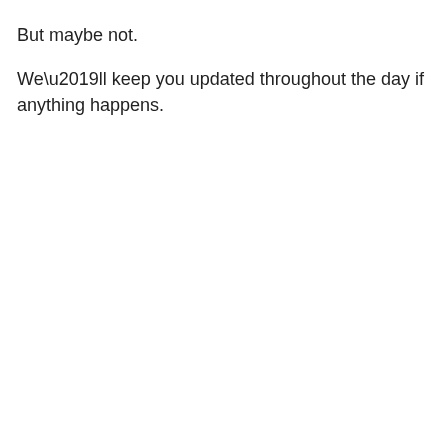But maybe not.

We’ll keep you updated throughout the day if anything happens.